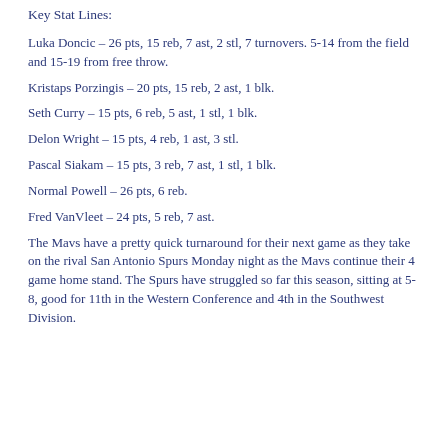Key Stat Lines:
Luka Doncic – 26 pts, 15 reb, 7 ast, 2 stl, 7 turnovers. 5-14 from the field and 15-19 from free throw.
Kristaps Porzingis – 20 pts, 15 reb, 2 ast, 1 blk.
Seth Curry – 15 pts, 6 reb, 5 ast, 1 stl, 1 blk.
Delon Wright – 15 pts, 4 reb, 1 ast, 3 stl.
Pascal Siakam – 15 pts, 3 reb, 7 ast, 1 stl, 1 blk.
Normal Powell – 26 pts, 6 reb.
Fred VanVleet – 24 pts, 5 reb, 7 ast.
The Mavs have a pretty quick turnaround for their next game as they take on the rival San Antonio Spurs Monday night as the Mavs continue their 4 game home stand. The Spurs have struggled so far this season, sitting at 5-8, good for 11th in the Western Conference and 4th in the Southwest Division.